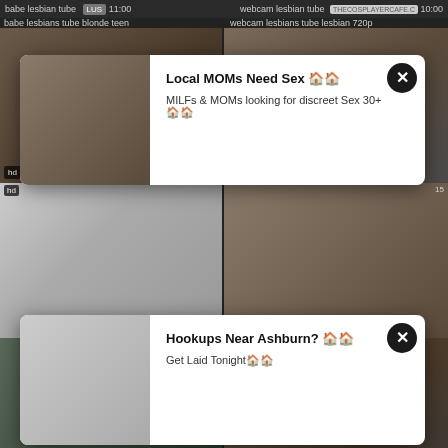[Figure (screenshot): Adult video website screenshot with thumbnail grid, two popup ads, and video thumbnails with labels and timestamps]
babe lesbian tube
webcam lesbian tube
babe lesbians tube blonde teen
webcam lesbians tube lesbian 720p
Local MOMs Need Sex
MILFs & MOMs looking for discreet Sex 30+
Hookups Near Ashburn?
Get Laid Tonight
lesbian lesbian tube
10:00
lesbian lesbians tube strapon hardcore
bdsm lesbian tube
6:01
bdsm lesbians tube peeing strapon